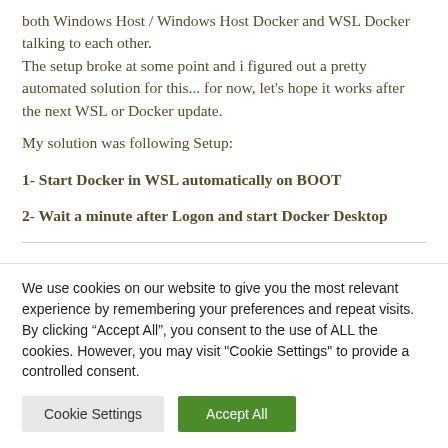both Windows Host / Windows Host Docker and WSL Docker talking to each other.
The setup broke at some point and i figured out a pretty automated solution for this... for now, let's hope it works after the next WSL or Docker update.
My solution was following Setup:
1- Start Docker in WSL automatically on BOOT
2- Wait a minute after Logon and start Docker Desktop
We use cookies on our website to give you the most relevant experience by remembering your preferences and repeat visits. By clicking “Accept All”, you consent to the use of ALL the cookies. However, you may visit "Cookie Settings" to provide a controlled consent.